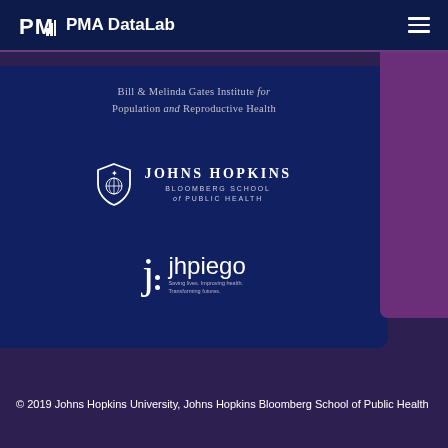PMA PMA DataLab
[Figure (logo): Bill & Melinda Gates Institute for Population and Reproductive Health logo (text-based)]
[Figure (logo): Johns Hopkins Bloomberg School of Public Health shield logo with text]
[Figure (logo): jhpiego logo - Saving lives. Improving health. Transforming futures.]
© 2019 Johns Hopkins University, Johns Hopkins Bloomberg School of Public Health
English >